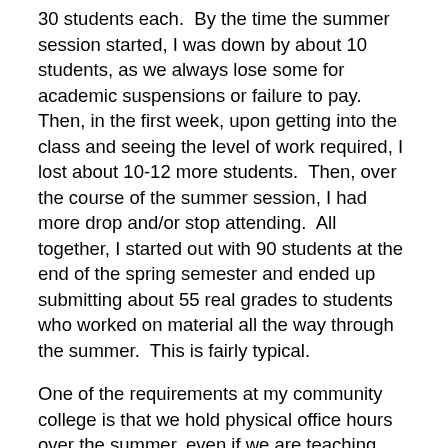30 students each.  By the time the summer session started, I was down by about 10 students, as we always lose some for academic suspensions or failure to pay.  Then, in the first week, upon getting into the class and seeing the level of work required, I lost about 10-12 more students.  Then, over the course of the summer session, I had more drop and/or stop attending.  All together, I started out with 90 students at the end of the spring semester and ended up submitting about 55 real grades to students who worked on material all the way through the summer.  This is fairly typical.
One of the requirements at my community college is that we hold physical office hours over the summer, even if we are teaching only online.  The required number of on-campus office hours is fairly flexible, but some must be there, and I ended up holding 8 on campus each week.  In